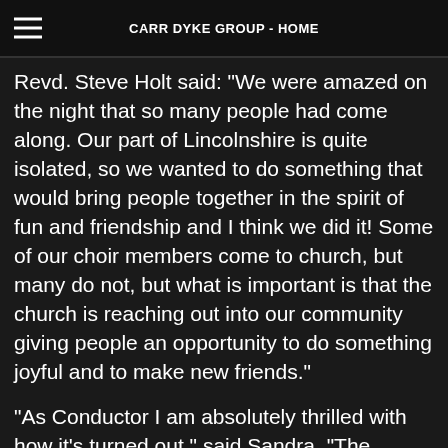CARR DYKE GROUP - HOME
Revd. Steve Holt said: “We were amazed on the night that so many people had come along. Our part of Lincolnshire is quite isolated, so we wanted to do something that would bring people together in the spirit of fun and friendship and I think we did it! Some of our choir members come to church, but many do not, but what is important is that the church is reaching out into our community giving people an opportunity to do something joyful and to make new friends.”
“As Conductor I am absolutely thrilled with how it’s turned out.” said Sandra. “The community hall was buzzing on the night and we have received some lovely feedback. People have said they want to sing more often, so we are going to organise to do that. It’s wonderful that